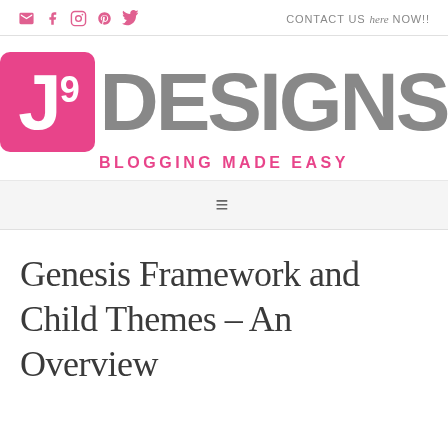✉ f ⊙ ℗ 🐦  CONTACT US here NOW!!
[Figure (logo): J9 Designs logo — pink rounded square with white J9 letters followed by grey DESIGNS text, with pink tagline BLOGGING MADE EASY]
≡
Genesis Framework and Child Themes – An Overview